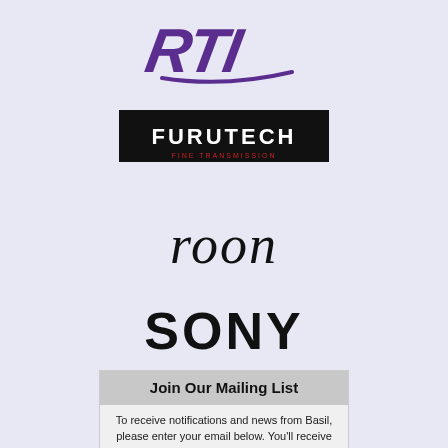[Figure (logo): RTI logo — stylized italic letters RTI in purple/violet color]
[Figure (logo): FURUTECH logo — white text on black rectangular background with fine print below]
[Figure (logo): roon logo — lowercase italic black text on light background]
[Figure (logo): SONY logo — large bold serif uppercase black text]
Join Our Mailing List
To receive notifications and news from Basil, please enter your email below. You'll receive an email with a link to confirm your subscription. If